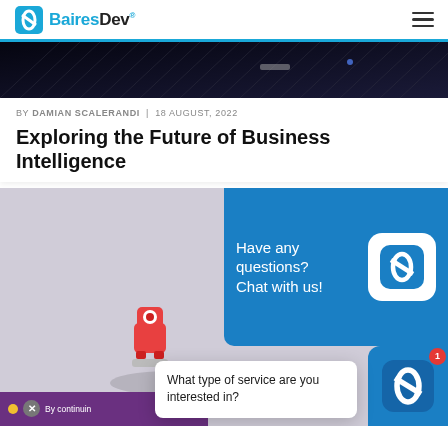BairesDev.
[Figure (photo): Dark abstract background with diagonal lines and light effects, hero banner image]
BY DAMIAN SCALERANDI | 18 AUGUST, 2022
Exploring the Future of Business Intelligence
[Figure (screenshot): BairesDev website with chat widget overlay showing 'Have any questions? Chat with us!' and a popup asking 'What type of service are you interested in?', with a 3D robot figure and cookie consent bar]
Have any questions? Chat with us!
What type of service are you interested in?
By continuin